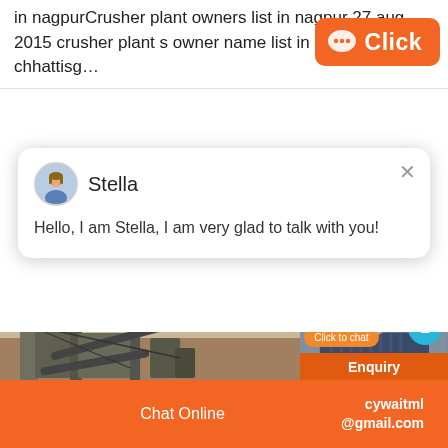in nagpurCrusher plant owners list in nagpur 27 aug 2015 crusher plant s owner name list in raipur list of chhattisg…
[Figure (screenshot): Orange 'Click' button with chat bubble icon]
[Figure (screenshot): Chat popup with avatar of Stella and message: Hello, I am Stella, I am very glad to talk with you!]
[Figure (photo): Photo of industrial crusher plant machinery outdoors]
[Figure (photo): Photo of person on phone call with notification badge showing 1 and Click to chat button, Enquiry section]
Chat Online   cywaitml @gmail.com